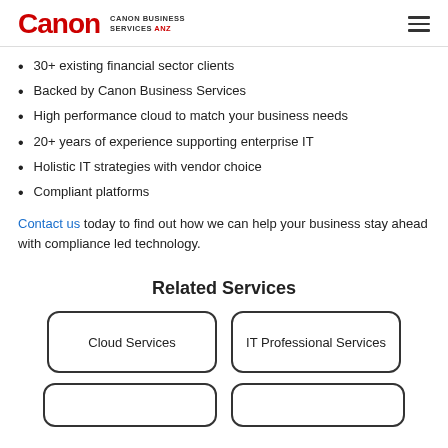Canon | CANON BUSINESS SERVICES ANZ
30+ existing financial sector clients
Backed by Canon Business Services
High performance cloud to match your business needs
20+ years of experience supporting enterprise IT
Holistic IT strategies with vendor choice
Compliant platforms
Contact us today to find out how we can help your business stay ahead with compliance led technology.
Related Services
Cloud Services
IT Professional Services